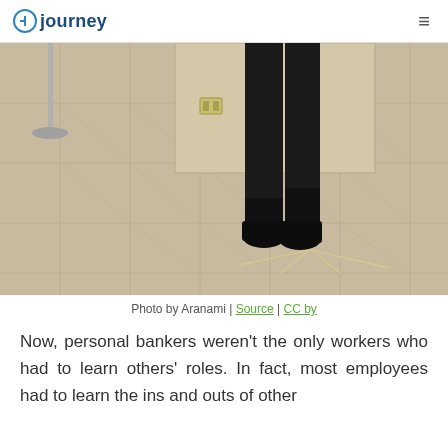journey
[Figure (photo): Photo of a person's legs in dark tights and dark shoes/boots standing on a tan tile floor in what appears to be a bank or office. A rope stanchion stand is visible to the left, and a tan divider panel is in the background. A wire stand/display is visible on the floor.]
Photo by Aranami | Source | CC by
Now, personal bankers weren’t the only workers who had to learn others’ roles. In fact, most employees had to learn the ins and outs of other